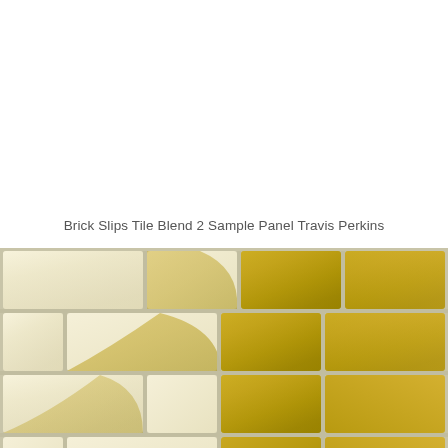Brick Slips Tile Blend 2 Sample Panel Travis Perkins
[Figure (photo): Close-up photo of glossy ceramic brick slip tiles arranged in a running bond pattern. The tiles have two colors: cream/ivory on the left side and mustard/olive yellow on the right side, with white grout lines between them.]